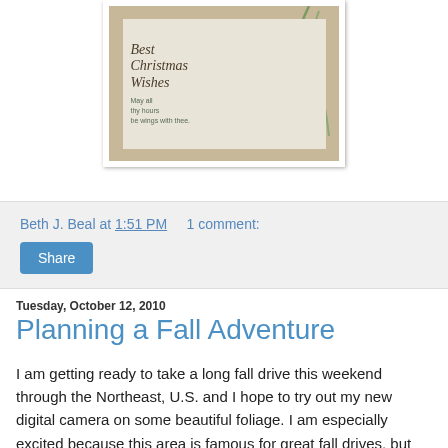[Figure (photo): A Christmas card showing 'Best Christmas Wishes' text in cursive on a light beige/cream background with green grass or plant stems, framed by a dark brown wooden frame border.]
Beth J. Beal at 1:51 PM    1 comment:
Share
Tuesday, October 12, 2010
Planning a Fall Adventure
I am getting ready to take a long fall drive this weekend through the Northeast, U.S. and I hope to try out my new digital camera on some beautiful foliage. I am especially excited because this area is famous for great fall drives, but